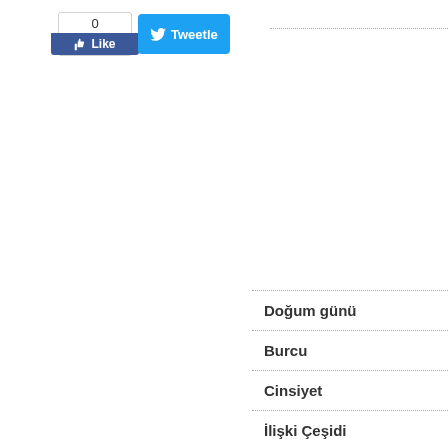[Figure (other): Social sharing buttons: Facebook Like widget showing count 0 and a blue Like button, and a Twitter Tweetle button]
Doğum günü
Burcu
Cinsiyet
İlişki Çeşidi
Ülke
E-Posta